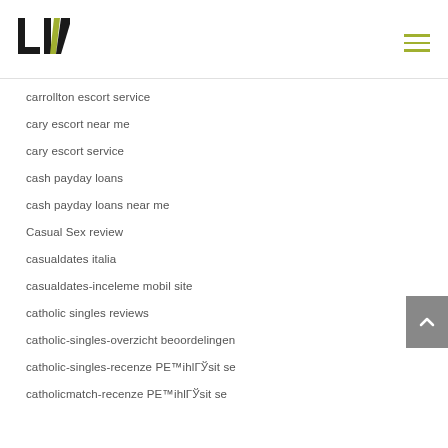[Figure (logo): LIV logo with green chevron/slash between L and V]
carrollton escort service
cary escort near me
cary escort service
cash payday loans
cash payday loans near me
Casual Sex review
casualdates italia
casualdates-inceleme mobil site
catholic singles reviews
catholic-singles-overzicht beoordelingen
catholic-singles-recenze PE™ihlГЎsit se
catholicmatch-recenze PE™ihlГЎsit se